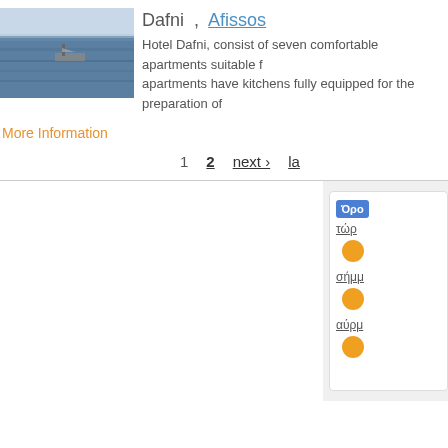[Figure (photo): Photo of sea with a boat/ship on blue water, hotel listing image for Dafni hotel in Afissos]
Dafni , Afissos
Hotel Dafni, consist of seven comfortable apartments suitable f... apartments have kitchens fully equipped for the preparation of...
More Information
1  2  next ›  la
[Figure (screenshot): Weather widget panel partially visible at right edge showing Greek text labels (Όρο, τώρ, σήμμ, αύρμ) with orange circle weather icons]
Όρο
τώρ
σήμμ
αύρμ